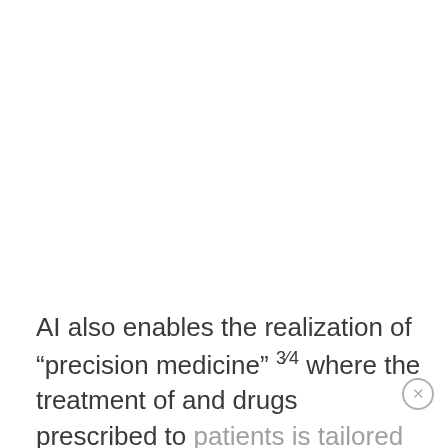AI also enables the realization of “precision medicine” ¾ where the treatment of and drugs prescribed to patients is tailored to individual need. For example, not everyone has the same